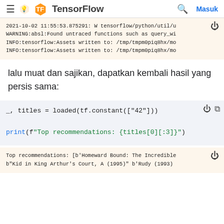TensorFlow  Masuk
[Figure (screenshot): Output block showing TensorFlow warning and info log lines on a light peach background]
lalu muat dan sajikan, dapatkan kembali hasil yang persis sama:
[Figure (screenshot): Code block with: _, titles = loaded(tf.constant(["42"])) and print(f"Top recommendations: {titles[0][:3]}")]
[Figure (screenshot): Output block showing: Top recommendations: [b'Homeward Bound: The Incredible b"Kid in King Arthur's Court, A (1995)" b'Rudy (1993)]